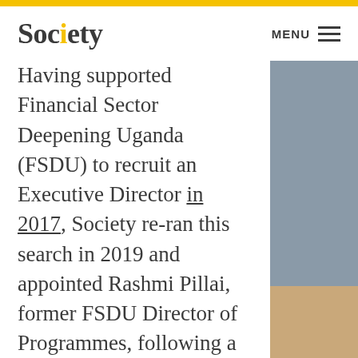Society  MENU
Having supported Financial Sector Deepening Uganda (FSDU) to recruit an Executive Director in 2017, Society re-ran this search in 2019 and appointed Rashmi Pillai, former FSDU Director of Programmes, following a competitive process.
FSDU is an independent, not-for-profit company, and part of a
[Figure (photo): Portrait photo, partially visible on the right side of the page — upper portion shows grey/blue background, lower portion shows skin-toned area (person's hands or face).]